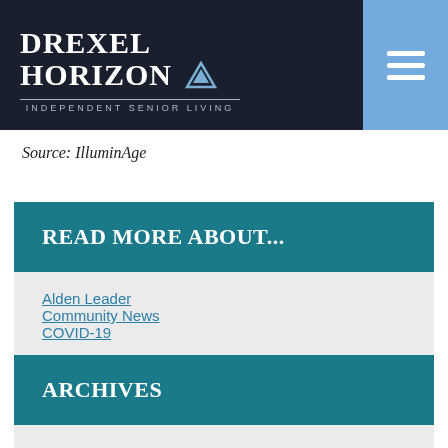DREXEL HORIZON Independent Senior Living
Source: IlluminAge
READ MORE ABOUT...
Alden Leader
Community News
COVID-19
ARCHIVES